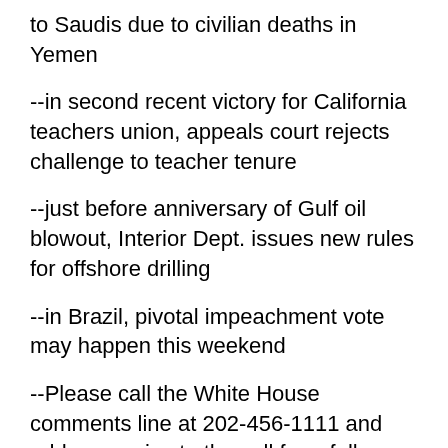to Saudis due to civilian deaths in Yemen
--in second recent victory for California teachers union, appeals court rejects challenge to teacher tenure
--just before anniversary of Gulf oil blowout, Interior Dept. issues new rules for offshore drilling
--in Brazil, pivotal impeachment vote may happen this weekend
--Please call the White House comments line at 202-456-1111 and add your voice to the call for a full pardon for former Alabama governor Don Siegelman